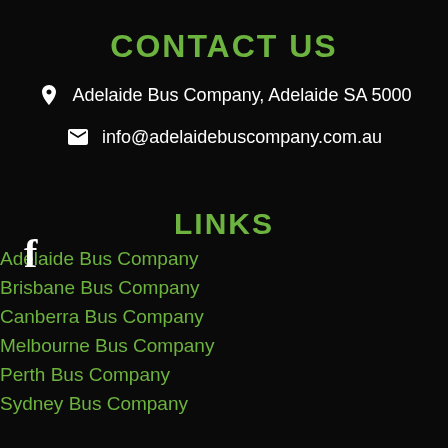CONTACT US
Adelaide Bus Company, Adelaide SA 5000
info@adelaidebuscompany.com.au
[Figure (logo): Facebook logo icon (f) in white]
LINKS
Adelaide Bus Company
Brisbane Bus Company
Canberra Bus Company
Melbourne Bus Company
Perth Bus Company
Sydney Bus Company